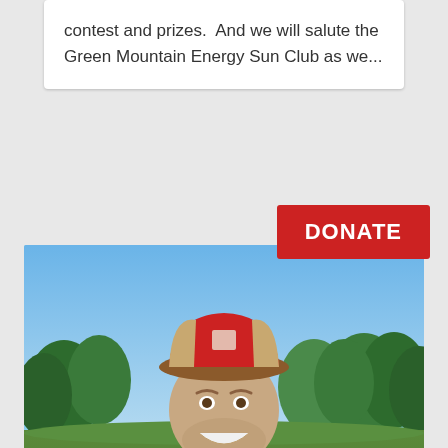contest and prizes.  And we will salute the Green Mountain Energy Sun Club as we...
[Figure (other): Red DONATE button overlay on image]
[Figure (photo): A smiling man wearing a red and tan baseball cap and a blue plaid shirt, holding up a large potato or mushroom in a farm field with green trees in the background on a sunny day.]